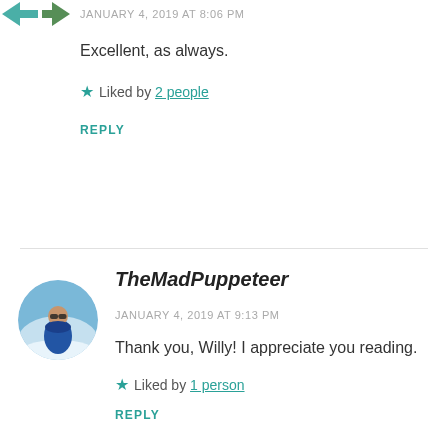[Figure (logo): Green arrow/chevron icons at top left corner]
JANUARY 4, 2019 AT 8:06 PM
Excellent, as always.
★ Liked by 2 people
REPLY
[Figure (photo): Circular avatar photo of TheMadPuppeteer — person in blue jacket outdoors with scenic background]
TheMadPuppeteer
JANUARY 4, 2019 AT 9:13 PM
Thank you, Willy! I appreciate you reading.
★ Liked by 1 person
REPLY